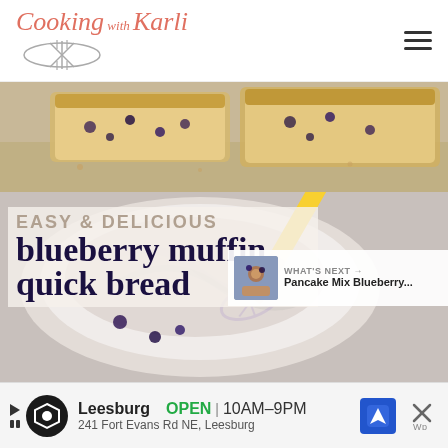Cooking with Karli
[Figure (photo): Close-up photo of sliced blueberry muffin quick bread on a surface]
[Figure (photo): Mixing bowl with white batter and yellow spatula, overlaid with text 'Easy & Delicious blueberry muffin quick bread' and social sharing buttons, and a 'What's Next: Pancake Mix Blueberry...' promo overlay]
[Figure (other): Advertisement banner for a Leesburg store showing logo, OPEN | 10AM-9PM, address 241 Fort Evans Rd NE Leesburg, navigation icon, and close button]